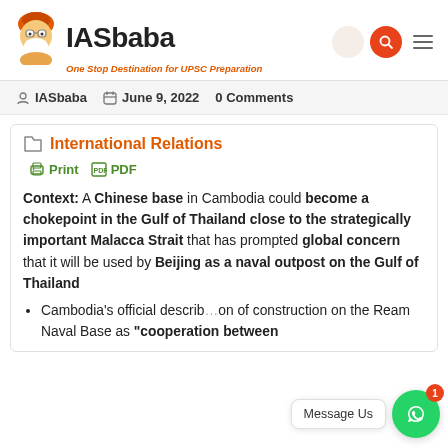[Figure (logo): IASbaba logo with mascot (turbaned cartoon figure) and tagline 'One Stop Destination for UPSC Preparation']
IASbaba   June 9, 2022   0 Comments
International Relations
Print   PDF
Context: A Chinese base in Cambodia could become a chokepoint in the Gulf of Thailand close to the strategically important Malacca Strait that has prompted global concern that it will be used by Beijing as a naval outpost on the Gulf of Thailand
Cambodia's official description of construction on the Ream Naval Base as "cooperation between